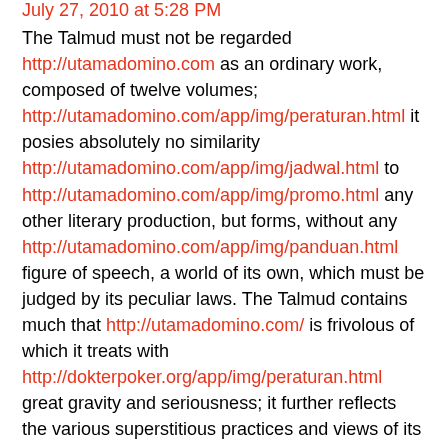July 27, 2010 at 5:28 PM
The Talmud must not be regarded http://utamadomino.com as an ordinary work, composed of twelve volumes; http://utamadomino.com/app/img/peraturan.html it posies absolutely no similarity http://utamadomino.com/app/img/jadwal.html to http://utamadomino.com/app/img/promo.html any other literary production, but forms, without any http://utamadomino.com/app/img/panduan.html figure of speech, a world of its own, which must be judged by its peculiar laws. The Talmud contains much that http://utamadomino.com/ is frivolous of which it treats with http://dokterpoker.org/app/img/peraturan.html great gravity and seriousness; it further reflects the various superstitious practices and views of its Persian (Babylonian)